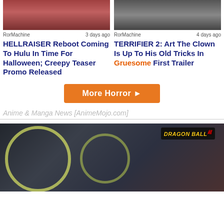[Figure (photo): Thumbnail image for Hellraiser article, dark reddish-brown tones]
[Figure (photo): Thumbnail image for Terrifier 2 article, dark gray tones with figure]
RorMachine   3 days ago
RorMachine   4 days ago
HELLRAISER Reboot Coming To Hulu In Time For Halloween; Creepy Teaser Promo Released
TERRIFIER 2: Art The Clown Is Up To His Old Tricks In Gruesome First Trailer
More Horror ▶
Anime & Manga News [AnimeMojo.com]
[Figure (screenshot): Dragon Ball Super anime screenshot with glowing circular energy and character in dark scene, Dragon Ball Super logo in top right]